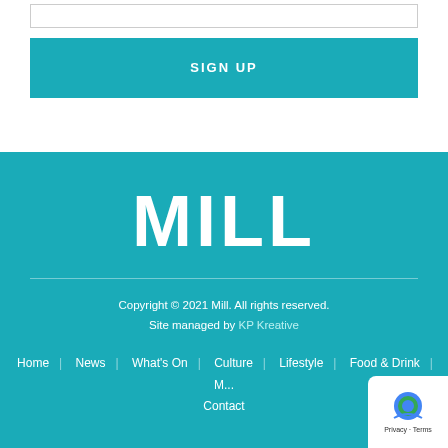[Figure (other): Input box (form field, empty)]
SIGN UP
MILL
Copyright © 2021 Mill. All rights reserved.
Site managed by KP Kreative
Home | News | What's On | Culture | Lifestyle | Food & Drink | M... | Contact